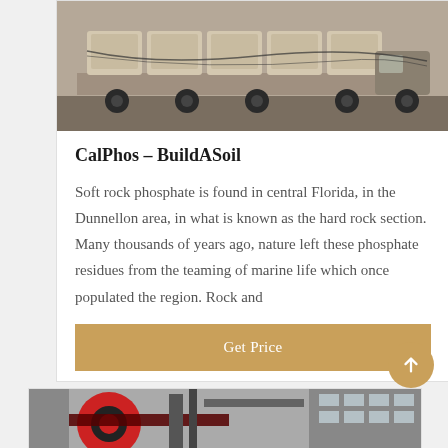[Figure (photo): Truck loaded with large white/beige troughs or containers on a flatbed, industrial yard setting]
CalPhos – BuildASoil
Soft rock phosphate is found in central Florida, in the Dunnellon area, in what is known as the hard rock section. Many thousands of years ago, nature left these phosphate residues from the teaming of marine life which once populated the region. Rock and
Get Price
[Figure (photo): Industrial machinery with red and black circular equipment, conveyor or processing plant in black and white background]